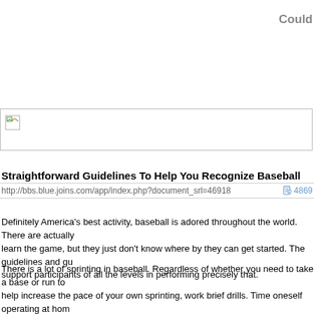Could
[Figure (illustration): Broken image placeholder with small image icon at top left, bordered rectangle]
Straightforward Guidelines To Help You Recognize Baseball
http://bbs.blue.joins.com/app/index.php?document_srl=46918   4869
Definitely America's best activity, baseball is adored throughout the world. There are actually learn the game, but they just don't know where by they can get started. The guidelines and gu support participants of all the levels in performing precisely that.
There is a lot of sprinting in baseball. Regardless of whether you need to take a base or run to help increase the pace of your own sprinting, work brief drills. Time oneself operating at hom Once you begin, strength off and away to get the maximum velocity.